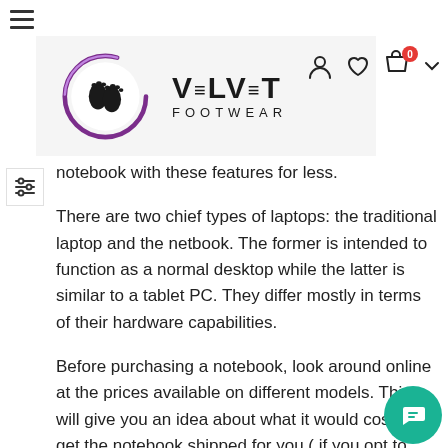[Figure (logo): Velvet Footwear logo with two footprint icons in a purple swirl circle and bold text 'VELVET FOOTWEAR']
notebook with these features for less.
There are two chief types of laptops: the traditional laptop and the netbook. The former is intended to function as a normal desktop while the latter is similar to a tablet PC. They differ mostly in terms of their hardware capabilities.
Before purchasing a notebook, look around online at the prices available on different models. This will give you an idea about what it would cost to get the notebook shipped for you ( if you opt to purchase this way). The top sellers are often those who sell new notebooks, so it is worth it to shop at the latest...